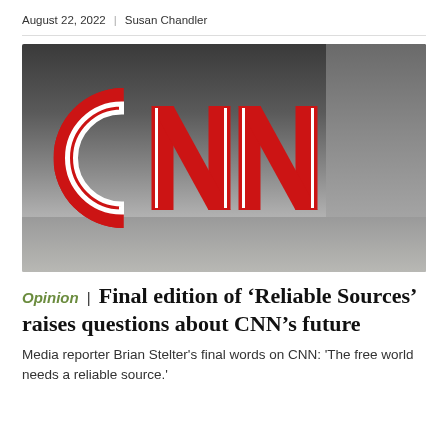August 22, 2022  |  Susan Chandler
[Figure (photo): Large red CNN logo letters mounted in front of a dark glass building exterior, photographed from a low angle. The three-dimensional CNN sign is prominent against a grey urban backdrop.]
Opinion | Final edition of 'Reliable Sources' raises questions about CNN's future
Media reporter Brian Stelter's final words on CNN: 'The free world needs a reliable source.'